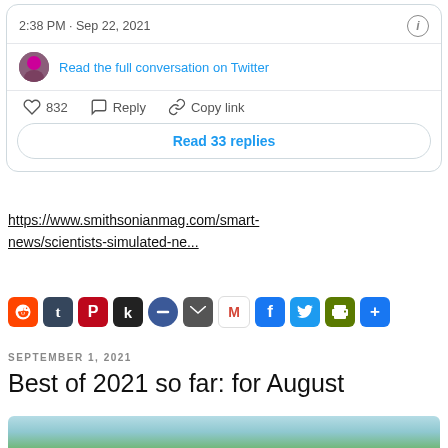[Figure (screenshot): Twitter embedded tweet card showing timestamp 2:38 PM · Sep 22, 2021, info icon, avatar, 'Read the full conversation on Twitter' link, heart icon with 832 likes, Reply, Copy link actions, and 'Read 33 replies' button]
https://www.smithsonianmag.com/smart-news/scientists-simulated-ne...
[Figure (infographic): Row of social share icon buttons: Reddit, Tumblr, Pinterest, Kinja, Minus/Circle, Email, Gmail, Facebook, Twitter, Print, Share]
SEPTEMBER 1, 2021
Best of 2021 so far: for August
[Figure (photo): Partial photo showing tree foliage against light sky, cropped at bottom of page]